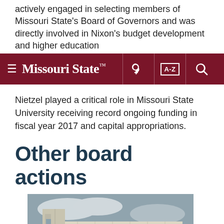actively engaged in selecting members of Missouri State's Board of Governors and was directly involved in Nixon's budget development and higher education
Missouri State [navigation bar with hamburger menu, key icon, A-Z index, and search icon]
Nietzel played a critical role in Missouri State University receiving record ongoing funding in fiscal year 2017 and capital appropriations.
Other board actions
[Figure (photo): Architectural rendering of a modern multi-story building with white/cream paneled facade, large windows, and a person standing near the entrance. Overcast sky in background.]